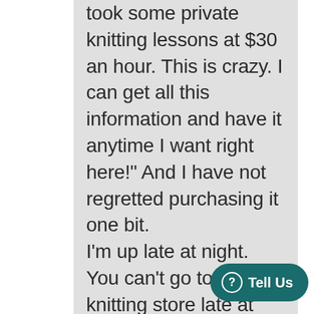took some private knitting lessons at $30 an hour. This is crazy. I can get all this information and have it anytime I want right here!" And I have not regretted purchasing it one bit.

I'm up late at night. You can't go to a knitting store late at